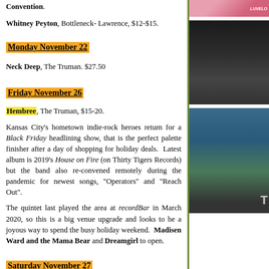Convention.
Whitney Peyton, Bottleneck- Lawrence, $12-$15.
Monday November 22
Neck Deep, The Truman. $27.50
Friday November 26
Hembree, The Truman, $15-20.
Kansas City's hometown indie-rock heroes return for a Black Friday headlining show, that is the perfect palette finisher after a day of shopping for holiday deals.  Latest album is 2019's House on Fire (on Thirty Tigers Records) but the band also re-convened remotely during the pandemic for newest songs, "Operators" and "Reach Out".
The quintet last played the area at recordBar in March 2020, so this is a big venue upgrade and looks to be a joyous way to spend the busy holiday weekend.  Madisen Ward and the Mama Bear and Dreamgirl to open.
Saturday November 27